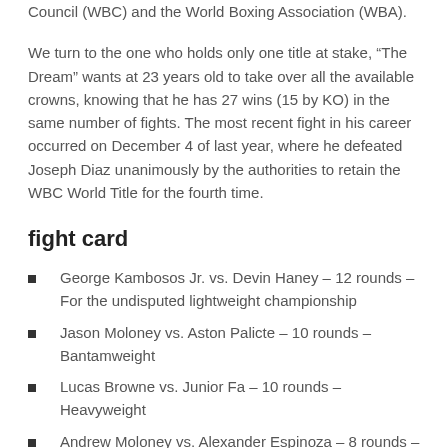Council (WBC) and the World Boxing Association (WBA).
We turn to the one who holds only one title at stake, “The Dream” wants at 23 years old to take over all the available crowns, knowing that he has 27 wins (15 by KO) in the same number of fights. The most recent fight in his career occurred on December 4 of last year, where he defeated Joseph Diaz unanimously by the authorities to retain the WBC World Title for the fourth time.
fight card
George Kambosos Jr. vs. Devin Haney – 12 rounds – For the undisputed lightweight championship
Jason Moloney vs. Aston Palicte – 10 rounds – Bantamweight
Lucas Browne vs. Junior Fa – 10 rounds – Heavyweight
Andrew Moloney vs. Alexander Espinoza – 8 rounds – Junior Bantamweight